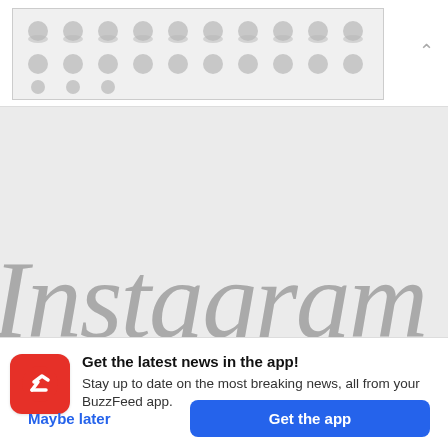[Figure (screenshot): Top banner with polka-dot pattern and chevron up arrow]
[Figure (screenshot): Instagram watermark logo on light gray background]
Get the latest news in the app! Stay up to date on the most breaking news, all from your BuzzFeed app.
Maybe later
Get the app